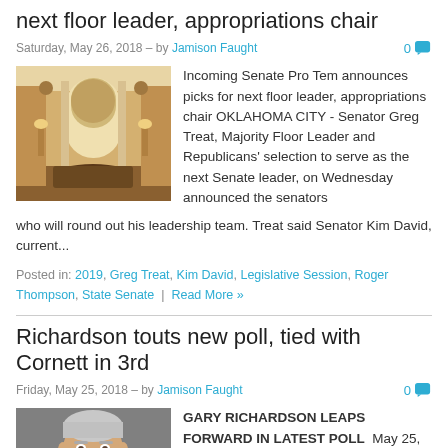next floor leader, appropriations chair
Saturday, May 26, 2018 – by Jamison Faught  0
[Figure (photo): Interior photo of a senate chamber room with ornate architecture, columns, wooden desk, and warm lighting]
Incoming Senate Pro Tem announces picks for next floor leader, appropriations chair OKLAHOMA CITY - Senator Greg Treat, Majority Floor Leader and Republicans' selection to serve as the next Senate leader, on Wednesday announced the senators who will round out his leadership team. Treat said Senator Kim David, current...
Posted in: 2019, Greg Treat, Kim David, Legislative Session, Roger Thompson, State Senate | Read More »
Richardson touts new poll, tied with Cornett in 3rd
Friday, May 25, 2018 – by Jamison Faught  0
[Figure (photo): Portrait photo of a middle-aged man with gray/white hair]
GARY RICHARDSON LEAPS FORWARD IN LATEST POLL  May 25, 2018 --  A new poll released today shows